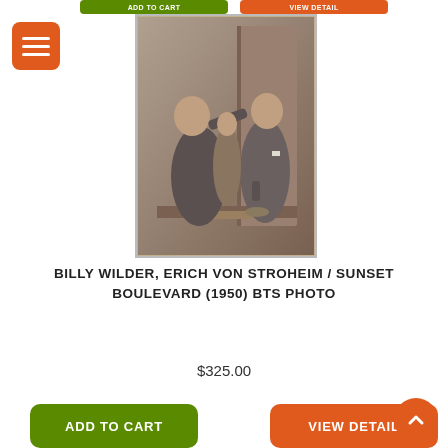[Figure (photo): Black and white photo of two men in suits, one gesturing toward the other's face, with a woman partially visible in the background and items on a table in the foreground. Behind the scenes photo from Sunset Boulevard (1950).]
BILLY WILDER, ERICH VON STROHEIM / SUNSET BOULEVARD (1950) BTS PHOTO
$325.00